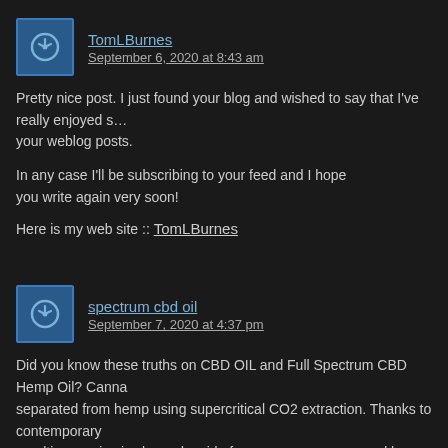TomLBurnes
September 6, 2020 at 8:43 am
Pretty nice post. I just found your blog and wished to say that I've really enjoyed surfing around your weblog posts.
In any case I'll be subscribing to your feed and I hope you write again very soon!
Here is my web site :: TomLBurnes
spectrum cbd oil
September 7, 2020 at 4:37 pm
Did you know these truths on CBD OIL and Full Spectrum CBD Hemp Oil? Canna separated from hemp using supercritical CO2 extraction. Thanks to contemporary resulting service is clean, devoid of unnecessary waxes and heavy metals, natura plant, and the drawn liquid has a typical, oily consistency. CBD oil contains canna component and might contain just trace amounts of tetrahydroxycannabidiol (THC memory enhancer, enhancing concentration and coordination of movements, getti inflammation and persistent infections. It improves the conduction of stimuli in the autoimmune illness (multiple sclerosis, amyotrophic sclerosis). It is recommended and pharmacists as an antioxidant and substance that obstructs the action of proin cytokines (proteins), e.g. in Crohn's illness or ulcerative intestine. RSO oil has a lo while high THC. Naturally, the essential task of RSO is to trigger a psychedelic eff